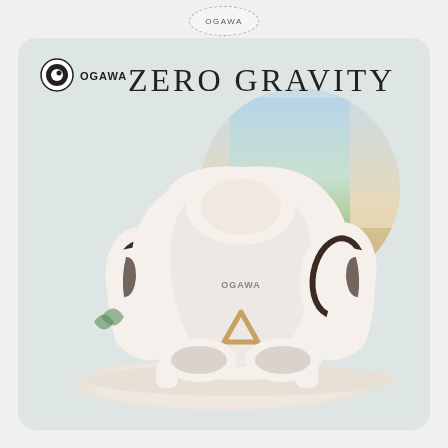[Figure (logo): OGAWA brand badge in dashed oval circle at top center of page]
[Figure (photo): OGAWA Zero Gravity massage chair product advertisement. White massage chair on a circular rug/platform, shown in a living room setting. Card has light sage/mint green background. Top-left shows OGAWA logo (eye icon) and brand name. Large text 'ZERO GRAVITY' appears in serif font. Chair is white with dark brown/chocolate accents, featuring a gold triangular emblem on the front. Rounded oval/blob-shaped room scene visible behind chair showing window and room interior.]